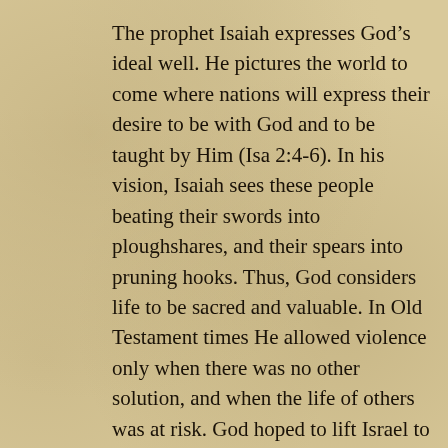The prophet Isaiah expresses God’s ideal well. He pictures the world to come where nations will express their desire to be with God and to be taught by Him (Isa 2:4-6). In his vision, Isaiah sees these people beating their swords into ploughshares, and their spears into pruning hooks. Thus, God considers life to be sacred and valuable. In Old Testament times He allowed violence only when there was no other solution, and when the life of others was at risk. God hoped to lift Israel to a higher, more humane